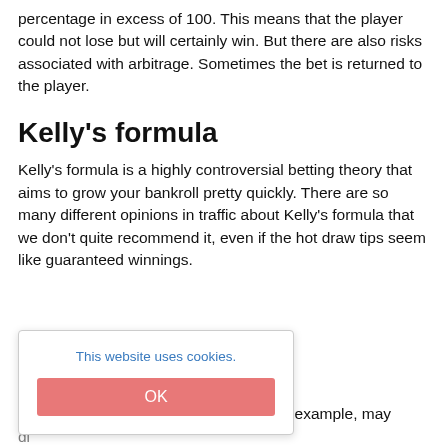percentage in excess of 100. This means that the player could not lose but will certainly win. But there are also risks associated with arbitrage. Sometimes the bet is returned to the player.
Kelly's formula
Kelly's formula is a highly controversial betting theory that aims to grow your bankroll pretty quickly. There are so many different opinions in traffic about Kelly's formula that we don't quite recommend it, even if the hot draw tips seem like guaranteed winnings.
[Figure (other): Cookie consent overlay with text 'This website uses cookies.' and an OK button in pink/salmon color.]
The idea of keeping a book in Excel, for example, may di...